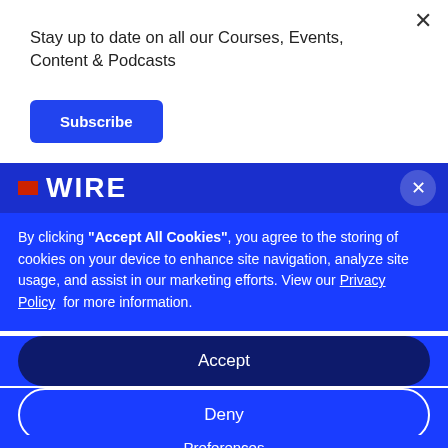Stay up to date on all our Courses, Events, Content & Podcasts
Subscribe
[Figure (screenshot): Blue banner with WIRE logo and close button]
By clicking “Accept All Cookies”, you agree to the storing of cookies on your device to enhance site navigation, analyze site usage, and assist in our marketing efforts. View our Privacy Policy for more information.
Accept
Deny
Preferences